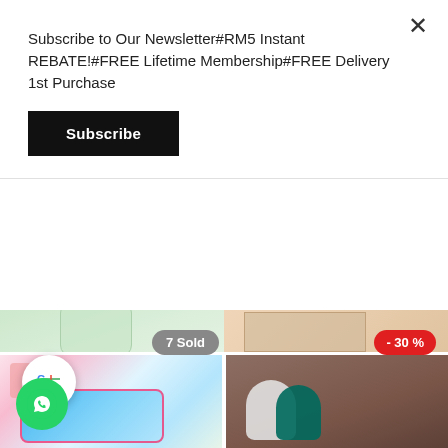Subscribe to Our Newsletter#RM5 Instant REBATE!#FREE Lifetime Membership#FREE Delivery 1st Purchase
Subscribe
[Figure (screenshot): Product listing page showing two product cards partially visible. Left card shows a glass jar/bottle with -45% discount badge and '7 Sold' badge. Right card shows a Flower Design Square item with -30% discount badge.]
n-Tache-Tic...
RM19.90
RM11.00
Flower Design Square...
RM49.00
RM34.30
[Figure (screenshot): Bottom portion of page showing two more product images: left shows a Frozen-themed pencil case/pouch in pink/blue, right shows ceramic animal figurines on a wooden surface. WhatsApp floating button visible on left.]